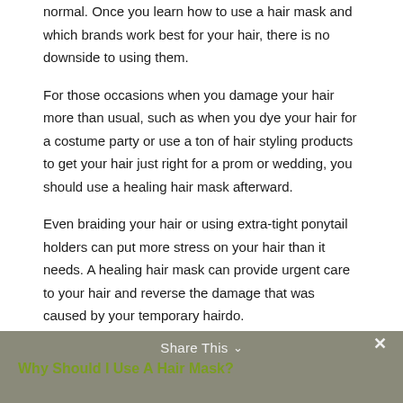normal. Once you learn how to use a hair mask and which brands work best for your hair, there is no downside to using them.
For those occasions when you damage your hair more than usual, such as when you dye your hair for a costume party or use a ton of hair styling products to get your hair just right for a prom or wedding, you should use a healing hair mask afterward.
Even braiding your hair or using extra-tight ponytail holders can put more stress on your hair than it needs. A healing hair mask can provide urgent care to your hair and reverse the damage that was caused by your temporary hairdo.
Share This ∨  ✕
Why Should I Use A Hair Mask?